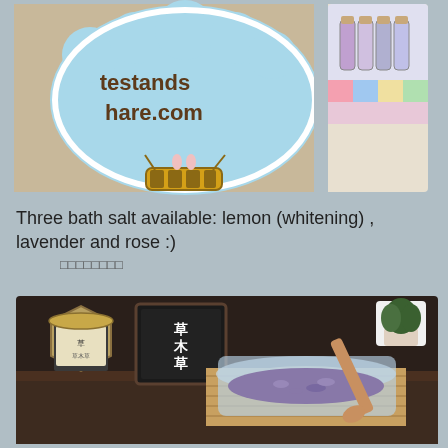[Figure (photo): Composite image: left side shows a cartoon hot air balloon sticker with text 'testands hare.com' on a light blue speech bubble, with a cute rabbit character in a basket; right side shows small bottles/jars with cork stoppers arranged on a colorful background.]
Three bath salt available: lemon (whitening) , lavender and rose :)
□□□□□□□□
[Figure (photo): Photo of bath salt products: a hexagonal glass jar with gold lid on the left, a chalkboard sign with Chinese characters in the center, a wicker basket filled with purple lavender bath salts in a plastic bag with a wooden spoon, and a small potted plant in the background.]